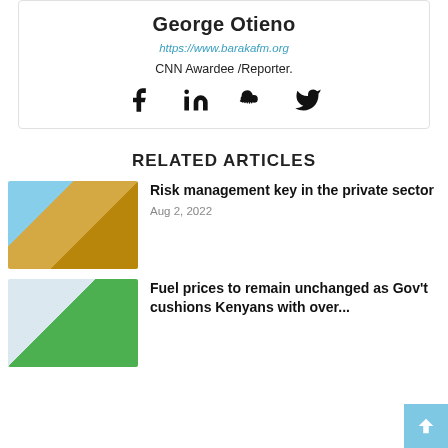George Otieno
https://www.barakafm.org
CNN Awardee /Reporter.
[Figure (other): Social media icons: Facebook, LinkedIn, SoundCloud, Twitter]
RELATED ARTICLES
[Figure (photo): Excavator/construction machinery lifting dirt]
Risk management key in the private sector
Aug 2, 2022
[Figure (photo): Person fueling a car with a green fuel pump nozzle]
Fuel prices to remain unchanged as Gov't cushions Kenyans with over...